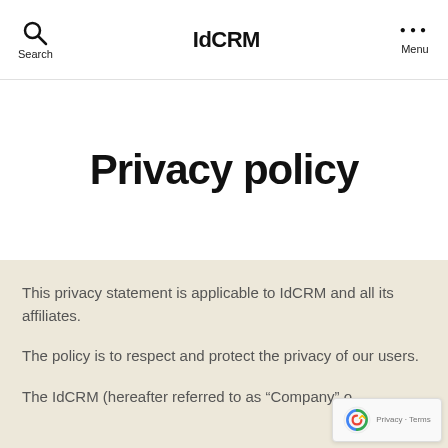Search | IdCRM | Menu
Privacy policy
This privacy statement is applicable to IdCRM and all its affiliates.
The policy is to respect and protect the privacy of our users.
The IdCRM (hereafter referred to as “Company” o...